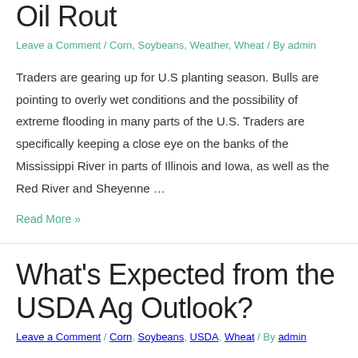Oil Rout
Leave a Comment / Corn, Soybeans, Weather, Wheat / By admin
Traders are gearing up for U.S planting season. Bulls are pointing to overly wet conditions and the possibility of extreme flooding in many parts of the U.S. Traders are specifically keeping a close eye on the banks of the Mississippi River in parts of Illinois and Iowa, as well as the Red River and Sheyenne …
Read More »
What's Expected from the USDA Ag Outlook?
Leave a Comment / Corn, Soybeans, USDA, Wheat / By admin